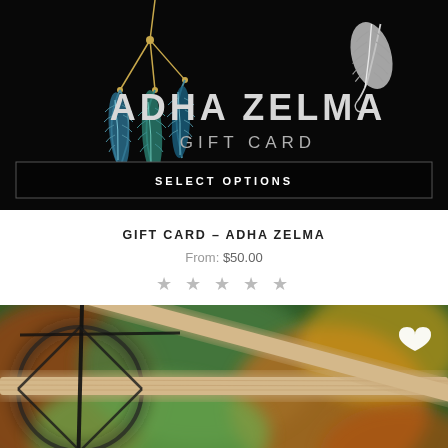[Figure (photo): Adha Zelma gift card product image with black background, dreamcatcher feathers on left, silver feather logo on right, 'ADHA ZELMA GIFT CARD' text in silver, and a 'SELECT OPTIONS' button at the bottom]
GIFT CARD – ADHA ZELMA
From: $50.00
★ ★ ★ ★ ★ (empty stars)
[Figure (photo): Partially visible product image showing what appears to be a dreamcatcher with wooden sticks and dark cord, colorful blurred background, white heart wishlist icon in top right]